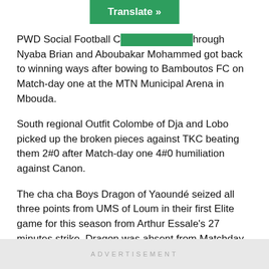PWD Social Football Club through Nyaba Brian and Aboubakar Mohammed got back to winning ways after bowing to Bamboutos FC on Match-day one at the MTN Municipal Arena in Mbouda.
South regional Outfit Colombe of Dja and Lobo picked up the broken pieces against TKC beating them 2#0 after Match-day one 4#0 humiliation against Canon.
The cha cha Boys Dragon of Yaoundé seized all three points from UMS of Loum in their first Elite game for this season from Arthur Essale's 27 minutes strike. Dragon was absent from Matchday one due to Cotonsport's participation in the CAF Confederation Cup.
Captain Tengemo Emmanuel gave YOSA an optimistic
ADVERTISEMENT